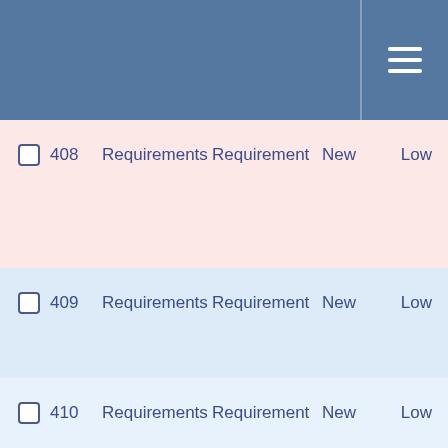Navigation header with menu icon
408  Requirements  Requirement  New  Low
409  Requirements  Requirement  New  Low
410  Requirements  Requirement  New  Low